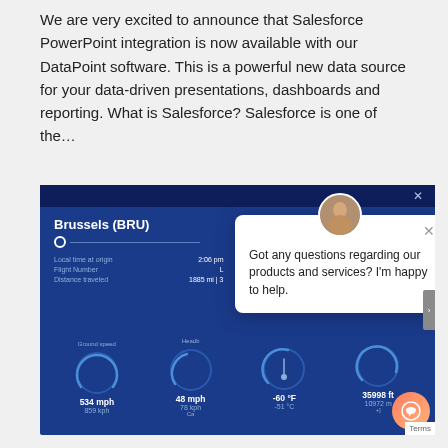We are very excited to announce that Salesforce PowerPoint integration is now available with our DataPoint software. This is a powerful new data source for your data-driven presentations, dashboards and reporting. What is Salesforce? Salesforce is one of the...
[Figure (screenshot): Screenshot of a flight information dashboard showing Brussels (BRU) as origin, with flight details including local time at origin 2:06 pm, flight number, distance traveled 1885 mi, and gauges showing ground speed 534 mph / 859 kph, 48 mph / 78 kph, -60°F / -51°C, and 35998 ft / 10972 m. A chat popup overlay shows an avatar photo and the message 'Got any questions regarding our products and services? I'm happy to help.' with a close X button.]